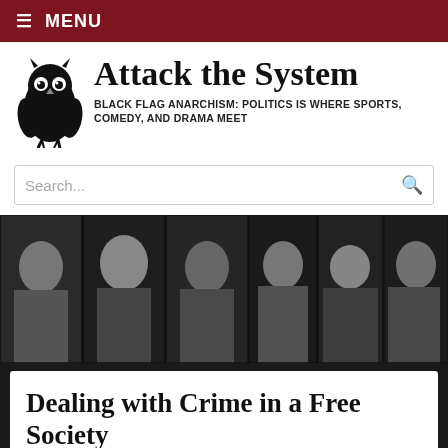≡ MENU
Attack the System
BLACK FLAG ANARCHISM: POLITICS IS WHERE SPORTS, COMEDY, AND DRAMA MEET
[Figure (screenshot): Search bar with placeholder text 'Search...' and a dark red search icon on the right]
[Figure (photo): Black and white photo strip showing approximately 11 historical portrait photographs of various people]
Dealing with Crime in a Free Society
The great Russian novelist Fyodor Dostoyevski noted that much could be learned about the